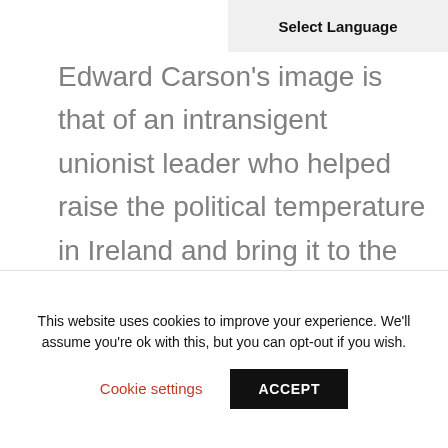Select Language
Edward Carson’s image is that of an intransigent unionist leader who helped raise the political temperature in Ireland and bring it to the brink of civil conflict. However, he himself felt a profound sense of unease about the measures then being taken by his
This website uses cookies to improve your experience. We’ll assume you’re ok with this, but you can opt-out if you wish.
Cookie settings    ACCEPT